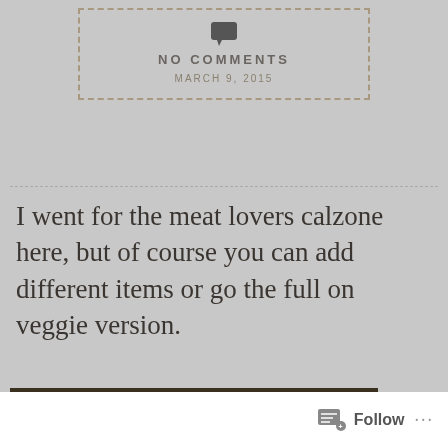NO COMMENTS
MARCH 9, 2015
I went for the meat lovers calzone here, but of course you can add different items or go the full on veggie version.
[Figure (photo): Kitchen counter with cooking ingredients including a bowl of grated cheese, a can of tomato sauce, and other items on a dark surface with white dough or paper visible.]
Follow ...